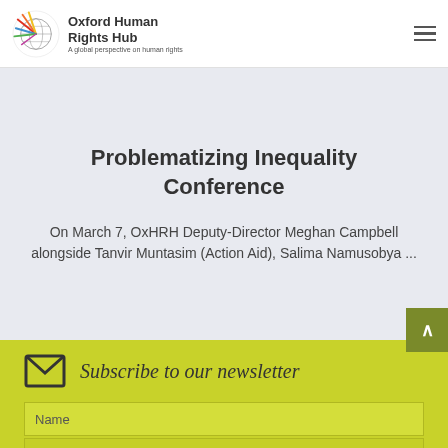Oxford Human Rights Hub — A global perspective on human rights
Problematizing Inequality Conference
On March 7, OxHRH Deputy-Director Meghan Campbell alongside Tanvir Muntasim (Action Aid), Salima Namusobya ...
Subscribe to our newsletter
Name
Surname